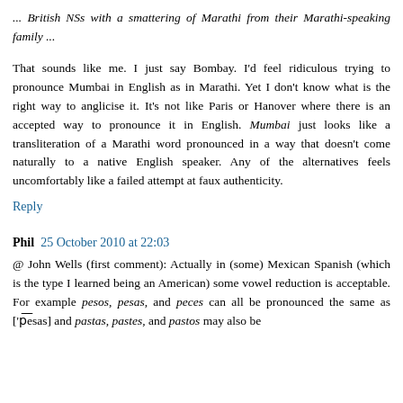... British NSs with a smattering of Marathi from their Marathi-speaking family ...
That sounds like me. I just say Bombay. I'd feel ridiculous trying to pronounce Mumbai in English as in Marathi. Yet I don't know what is the right way to anglicise it. It's not like Paris or Hanover where there is an accepted way to pronounce it in English. Mumbai just looks like a transliteration of a Marathi word pronounced in a way that doesn't come naturally to a native English speaker. Any of the alternatives feels uncomfortably like a failed attempt at faux authenticity.
Reply
Phil  25 October 2010 at 22:03
@ John Wells (first comment): Actually in (some) Mexican Spanish (which is the type I learned being an American) some vowel reduction is acceptable. For example pesos, pesas, and peces can all be pronounced the same as ['p̄esas] and pastas, pastes, and pastos may also be